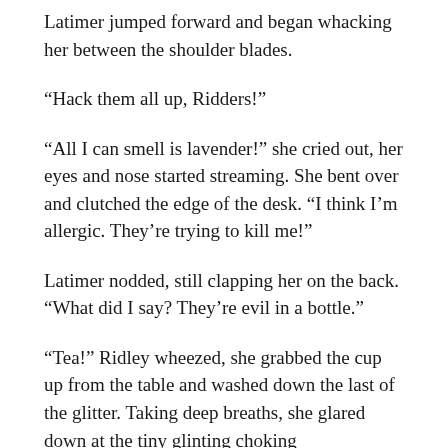Latimer jumped forward and began whacking her between the shoulder blades.
“Hack them all up, Ridders!”
“All I can smell is lavender!” she cried out, her eyes and nose started streaming. She bent over and clutched the edge of the desk. “I think I’m allergic. They’re trying to kill me!”
Latimer nodded, still clapping her on the back. “What did I say? They’re evil in a bottle.”
“Tea!” Ridley wheezed, she grabbed the cup up from the table and washed down the last of the glitter. Taking deep breaths, she glared down at the tiny glinting choking